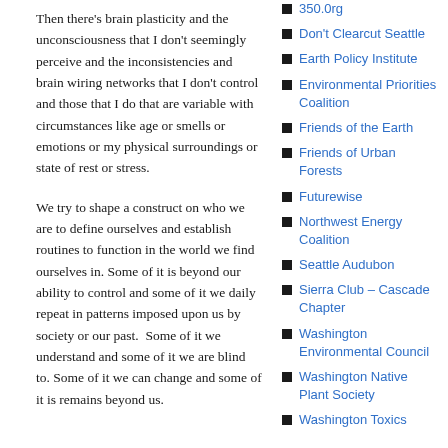Then there’s brain plasticity and the unconsciousness that I don’t seemingly perceive and the inconsistencies and brain wiring networks that I don’t control and those that I do that are variable with circumstances like age or smells or emotions or my physical surroundings or state of rest or stress.
We try to shape a construct on who we are to define ourselves and establish routines to function in the world we find ourselves in. Some of it is beyond our ability to control and some of it we daily repeat in patterns imposed upon us by society or our past.  Some of it we understand and some of it we are blind to. Some of it we can change and some of it is remains beyond us.
350.0rg
Don't Clearcut Seattle
Earth Policy Institute
Environmental Priorities Coalition
Friends of the Earth
Friends of Urban Forests
Futurewise
Northwest Energy Coalition
Seattle Audubon
Sierra Club – Cascade Chapter
Washington Environmental Council
Washington Native Plant Society
Washington Toxics